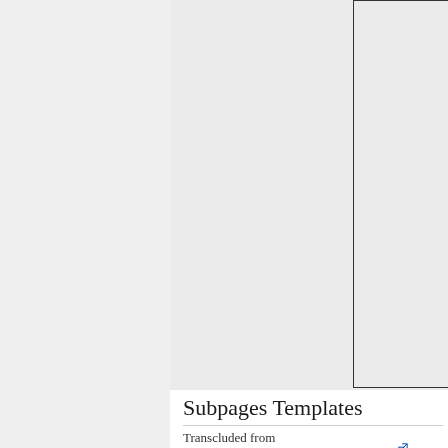[Figure (other): A large empty table/grid area with border, representing a template placeholder]
Subpages Templates
Transcluded from
CZ:Templates/Subpages_Templates (edit).